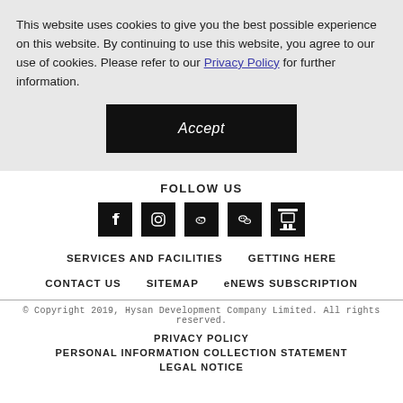This website uses cookies to give you the best possible experience on this website. By continuing to use this website, you agree to our use of cookies. Please refer to our Privacy Policy for further information.
Accept
FOLLOW US
[Figure (other): Five social media icons: Facebook, Instagram, Weibo, WeChat, and one more (Chinese social platform)]
SERVICES AND FACILITIES   GETTING HERE
CONTACT US   SITEMAP   eNEWS SUBSCRIPTION
© Copyright 2019, Hysan Development Company Limited. All rights reserved.
PRIVACY POLICY
PERSONAL INFORMATION COLLECTION STATEMENT
LEGAL NOTICE